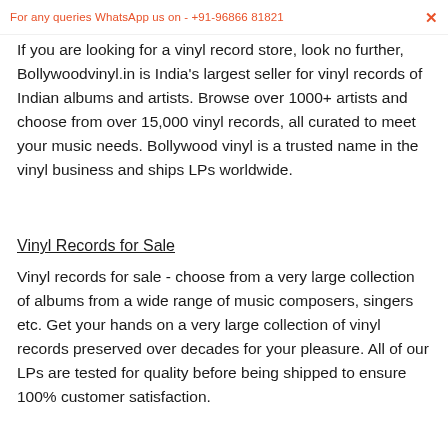For any queries WhatsApp us on - +91-96866 81821
If you are looking for a vinyl record store, look no further, Bollywoodvinyl.in is India's largest seller for vinyl records of Indian albums and artists. Browse over 1000+ artists and choose from over 15,000 vinyl records, all curated to meet your music needs. Bollywood vinyl is a trusted name in the vinyl business and ships LPs worldwide.
Vinyl Records for Sale
Vinyl records for sale - choose from a very large collection of albums from a wide range of music composers, singers etc. Get your hands on a very large collection of vinyl records preserved over decades for your pleasure. All of our LPs are tested for quality before being shipped to ensure 100% customer satisfaction.